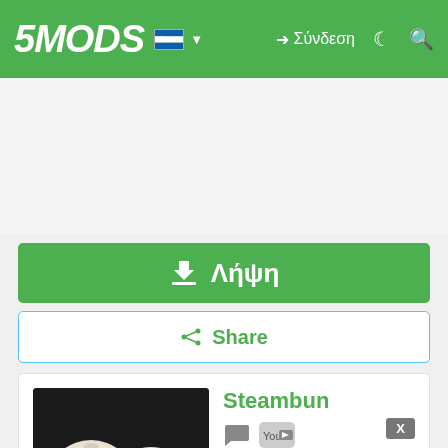5MODS — Σύνδεση
[Figure (screenshot): Green navigation header with 5MODS logo, Greek flag, login and search icons]
[Figure (screenshot): Empty advertisement/content area]
⬇ Λήψη
Share
[Figure (photo): Photo of steambuns (baozi) on dark background]
Steambun
YouTube 238